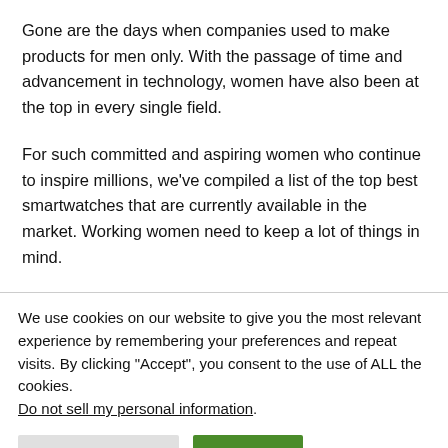Gone are the days when companies used to make products for men only. With the passage of time and advancement in technology, women have also been at the top in every single field.
For such committed and aspiring women who continue to inspire millions, we’ve compiled a list of the top best smartwatches that are currently available in the market. Working women need to keep a lot of things in mind.
We use cookies on our website to give you the most relevant experience by remembering your preferences and repeat visits. By clicking “Accept”, you consent to the use of ALL the cookies. Do not sell my personal information.